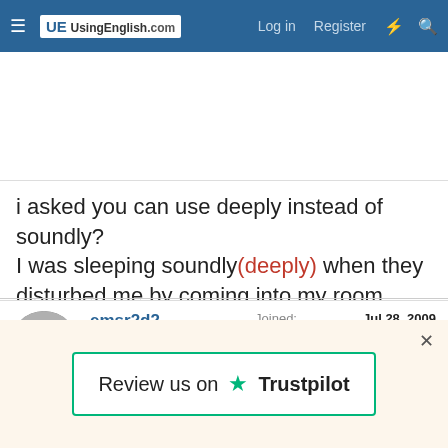UsingEnglish.com — Log in  Register
i asked you can use deeply instead of soundly?
I was sleeping soundly(deeply) when they disturbed me by coming into my room
Last edited: Apr 26, 2010
emsr2d2
Moderator  Staff member
Joined: Jul 28, 2009
Member Type: English Teacher
Native Language: British English
Home Country: UK
Current Location: UK
Review us on ★ Trustpilot